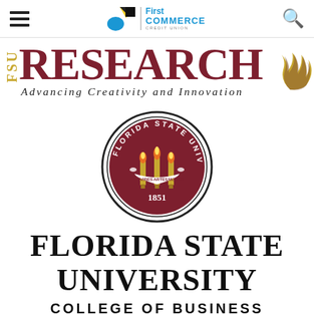[Figure (logo): First Commerce Credit Union logo with navigation bar including hamburger menu and search icon]
[Figure (logo): FSU Research - Advancing Creativity and Innovation banner with FSU vertical text, large RESEARCH in maroon, and golden flame decoration]
[Figure (logo): Florida State University circular seal with three torches, motto VIRES ARTES MORES, and year 1851]
FLORIDA STATE UNIVERSITY COLLEGE OF BUSINESS